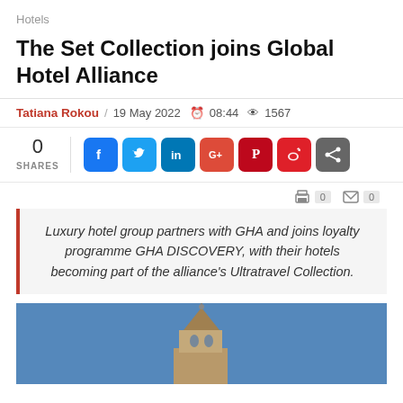Hotels
The Set Collection joins Global Hotel Alliance
Tatiana Rokou / 19 May 2022  08:44  1567
0 SHARES
Luxury hotel group partners with GHA and joins loyalty programme GHA DISCOVERY, with their hotels becoming part of the alliance's Ultratravel Collection.
[Figure (photo): Blue sky with historic hotel tower/turret building at the bottom]